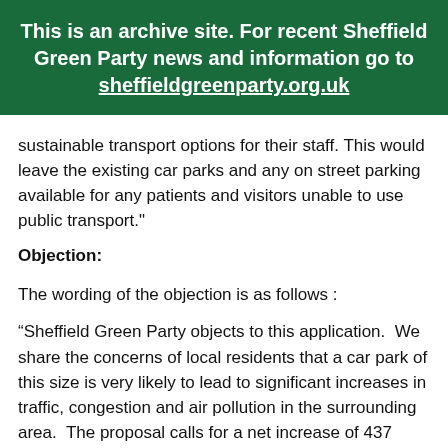This is an archive site. For recent Sheffield Green Party news and information go to sheffieldgreenparty.org.uk
sustainable transport options for their staff. This would leave the existing car parks and any on street parking available for any patients and visitors unable to use public transport."
Objection:
The wording of the objection is as follows :
“Sheffield Green Party objects to this application.  We share the concerns of local residents that a car park of this size is very likely to lead to significant increases in traffic, congestion and air pollution in the surrounding area.  The proposal calls for a net increase of 437 spaces in addition to those currently provided on the site.  Given the stated intention of the developers to provide additional spaces for users of the nearby hospitals, their assertion that this increase in parking provision will result in only a small net